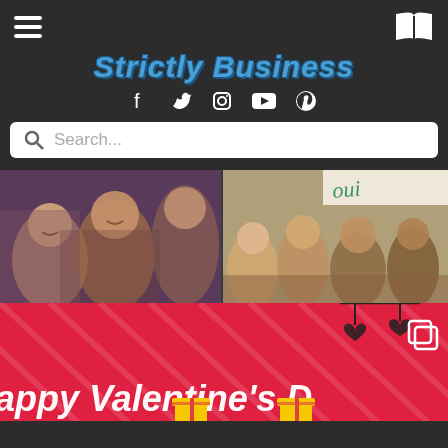Strictly Business - website header with hamburger menu, book icon, logo, social icons, and search bar
Strictly Business
[Figure (photo): Group of women smiling at an event, left photo]
[Figure (photo): Group of women at a restaurant or gathering, right photo, with cursive text overlay at top]
[Figure (illustration): Red Valentine's Day graphic card with text 'Happy Valentine's Day' in white italic font, diagonal stripe pattern, hanging hearts decoration at top right, and yellow gift boxes at bottom]